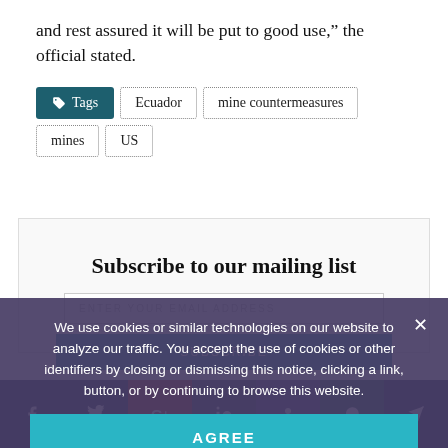and rest assured it will be put to good use,” the official stated.
Tags: Ecuador, mine countermeasures, mines, US
[Figure (infographic): Subscribe to our mailing list box with email icon, email input field, and subscribe button]
We use cookies or similar technologies on our website to analyze our traffic. You accept the use of cookies or other identifiers by closing or dismissing this notice, clicking a link, button, or by continuing to browse this website.
[Figure (infographic): AGREE button for cookie consent overlay]
[Figure (infographic): Social share bar at the bottom with Facebook, Twitter, Google+, LinkedIn, Odnoklassniki, WhatsApp, Telegram buttons]